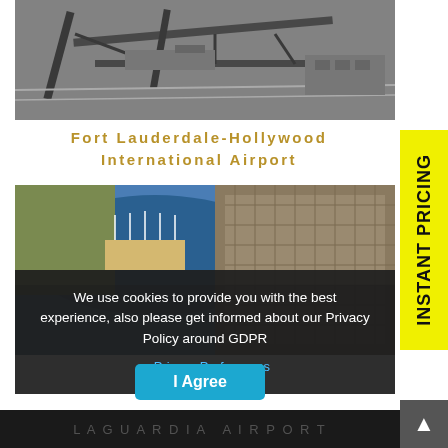[Figure (photo): Aerial black-and-white photograph of Fort Lauderdale-Hollywood International Airport showing runways and taxiways]
Fort Lauderdale-Hollywood International Airport
[Figure (photo): Aerial color photograph of Fort Lauderdale area showing harbor and dense urban development]
We use cookies to provide you with the best experience, also please get informed about our Privacy Policy around GDPR
▶ Privacy Preferences
I Agree